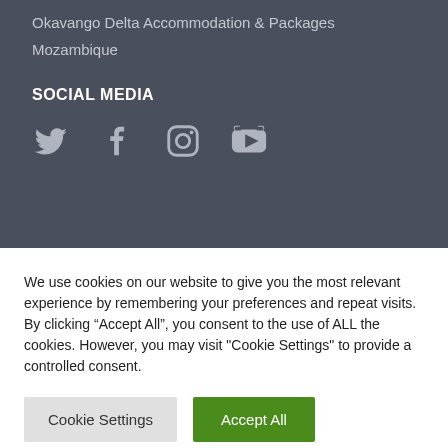Okavango Delta Accommodation & Packages
Mozambique
SOCIAL MEDIA
[Figure (illustration): Four social media icons: Twitter bird, Facebook f, Instagram camera, YouTube play button]
We use cookies on our website to give you the most relevant experience by remembering your preferences and repeat visits. By clicking “Accept All”, you consent to the use of ALL the cookies. However, you may visit "Cookie Settings" to provide a controlled consent.
Cookie Settings | Accept All